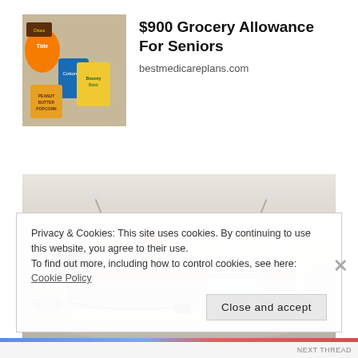[Figure (photo): Photo of grocery items including Cottonelle, Bounty Basic, peanut butter popcorn, and other household products]
$900 Grocery Allowance For Seniors
bestmedicareplans.com
[Figure (photo): Photo of a luxury smart bed with speakers, laptop tray, reclining features, storage drawers, and multiple accessories]
Privacy & Cookies: This site uses cookies. By continuing to use this website, you agree to their use.
To find out more, including how to control cookies, see here: Cookie Policy
Close and accept